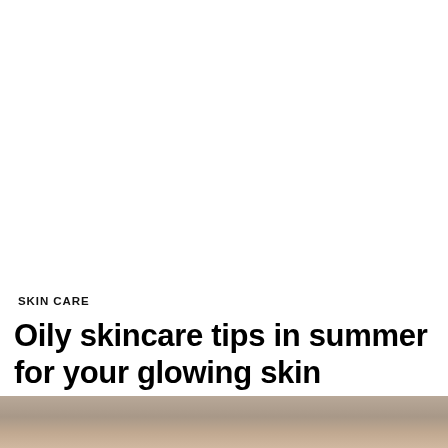SKIN CARE
Oily skincare tips in summer for your glowing skin
1.3k Views
[Figure (photo): Partial view of a person's face/hair at the bottom of the page]